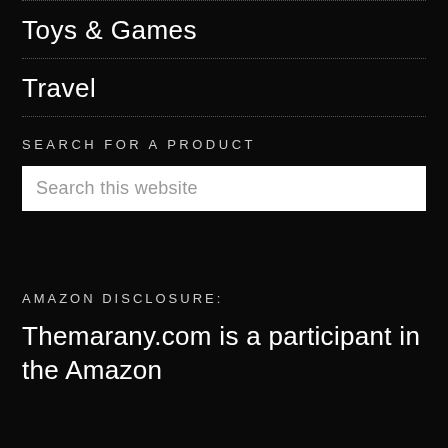Toys & Games
Travel
SEARCH FOR A PRODUCT
Search this website
AMAZON DISCLOSURE:
Themarany.com is a participant in the Amazon